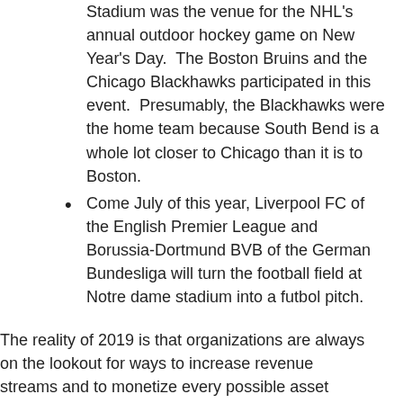Stadium was the venue for the NHL's annual outdoor hockey game on New Year's Day.  The Boston Bruins and the Chicago Blackhawks participated in this event.  Presumably, the Blackhawks were the home team because South Bend is a whole lot closer to Chicago than it is to Boston.
Come July of this year, Liverpool FC of the English Premier League and Borussia-Dortmund BVB of the German Bundesliga will turn the football field at Notre dame stadium into a futbol pitch.
The reality of 2019 is that organizations are always on the lookout for ways to increase revenue streams and to monetize every possible asset within their organization.  What was a “College Football Mecca” is still a football stadium primarily – – but it is used in other ways so as to bring added monies into the